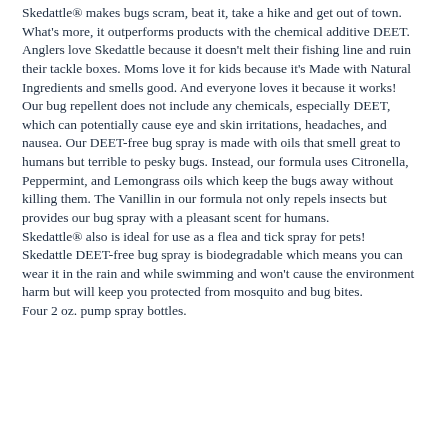Skedattle® makes bugs scram, beat it, take a hike and get out of town. What's more, it outperforms products with the chemical additive DEET. Anglers love Skedattle because it doesn't melt their fishing line and ruin their tackle boxes. Moms love it for kids because it's Made with Natural Ingredients and smells good. And everyone loves it because it works! Our bug repellent does not include any chemicals, especially DEET, which can potentially cause eye and skin irritations, headaches, and nausea. Our DEET-free bug spray is made with oils that smell great to humans but terrible to pesky bugs. Instead, our formula uses Citronella, Peppermint, and Lemongrass oils which keep the bugs away without killing them. The Vanillin in our formula not only repels insects but provides our bug spray with a pleasant scent for humans. Skedattle® also is ideal for use as a flea and tick spray for pets! Skedattle DEET-free bug spray is biodegradable which means you can wear it in the rain and while swimming and won't cause the environment harm but will keep you protected from mosquito and bug bites. Four 2 oz. pump spray bottles.